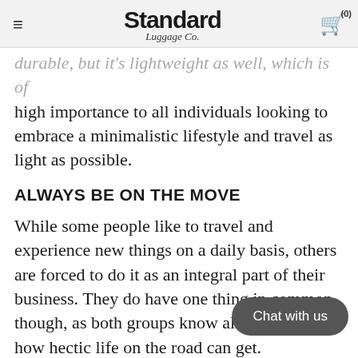Standard Luggage Co. (0)
durable, but it's lightweight as well, which is of high importance to all individuals looking to embrace a minimalistic lifestyle and travel as light as possible.
ALWAYS BE ON THE MOVE
While some people like to travel and experience new things on a daily basis, others are forced to do it as an integral part of their business. They do have one thing in common though, as both groups know all too well just how hectic life on the road can get.
In order to reduce the clutter and be always ready to go, one should have some basic items such as toiletries always packed and prepared
[Figure (other): Chat with us button (rounded rectangle, dark gray)]